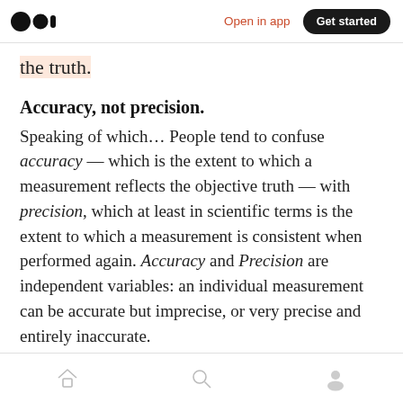Open in app  Get started
the truth.
Accuracy, not precision.
Speaking of which… People tend to confuse accuracy — which is the extent to which a measurement reflects the objective truth — with precision, which at least in scientific terms is the extent to which a measurement is consistent when performed again. Accuracy and Precision are independent variables: an individual measurement can be accurate but imprecise, or very precise and entirely inaccurate.
Home  Search  Profile